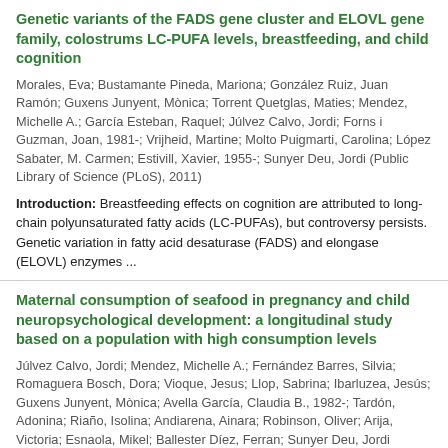Genetic variants of the FADS gene cluster and ELOVL gene family, colostrums LC-PUFA levels, breastfeeding, and child cognition
Morales, Eva; Bustamante Pineda, Mariona; González Ruiz, Juan Ramón; Guxens Junyent, Mònica; Torrent Quetglas, Maties; Mendez, Michelle A.; García Esteban, Raquel; Júlvez Calvo, Jordi; Forns i Guzman, Joan, 1981-; Vrijheid, Martine; Molto Puigmarti, Carolina; López Sabater, M. Carmen; Estivill, Xavier, 1955-; Sunyer Deu, Jordi (Public Library of Science (PLoS), 2011)
Introduction: Breastfeeding effects on cognition are attributed to long-chain polyunsaturated fatty acids (LC-PUFAs), but controversy persists. Genetic variation in fatty acid desaturase (FADS) and elongase (ELOVL) enzymes ...
Maternal consumption of seafood in pregnancy and child neuropsychological development: a longitudinal study based on a population with high consumption levels
Júlvez Calvo, Jordi; Mendez, Michelle A.; Fernández Barres, Silvia; Romaguera Bosch, Dora; Vioque, Jesus; Llop, Sabrina; Ibarluzea, Jesús; Guxens Junyent, Mònica; Avella García, Claudia B., 1982-; Tardón, Adonina; Riaño, Isolina; Andiarena, Ainara; Robinson, Oliver; Arija, Victoria; Esnaola, Mikel; Ballester Díez, Ferran; Sunyer Deu, Jordi (Oxford University Press, 2016)